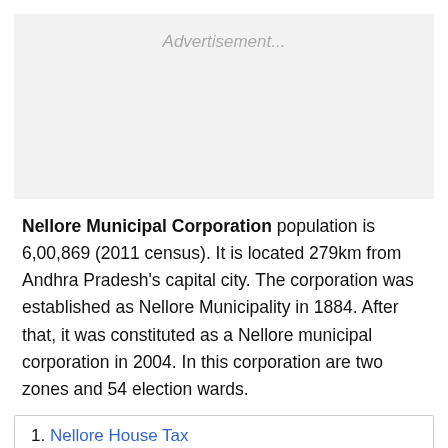[Figure (other): Advertisement placeholder box]
Nellore Municipal Corporation population is 6,00,869 (2011 census). It is located 279km from Andhra Pradesh's capital city. The corporation was established as Nellore Municipality in 1884. After that, it was constituted as a Nellore municipal corporation in 2004. In this corporation are two zones and 54 election wards.
1. Nellore House Tax